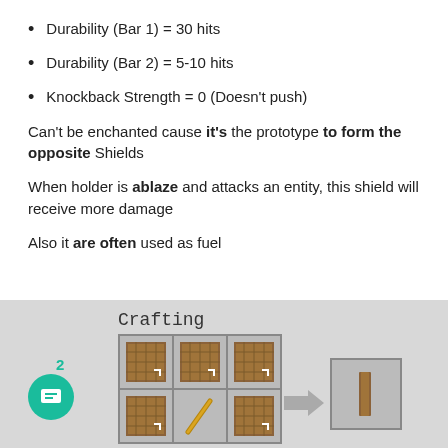Durability (Bar 1) = 30 hits
Durability (Bar 2) = 5-10 hits
Knockback Strength = 0 (Doesn't push)
Can't be enchanted cause it's the prototype to form the opposite Shields
When holder is ablaze and attacks an entity, this shield will receive more damage
Also it are often used as fuel
[Figure (screenshot): Minecraft crafting table UI showing 3x2 grid with wooden planks and a stick, producing a wooden item. Title reads 'Crafting'.]